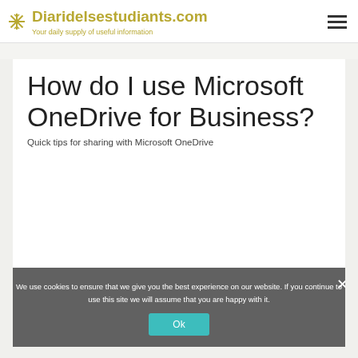Diaridelsestudiants.com — Your daily supply of useful information
How do I use Microsoft OneDrive for Business?
Quick tips for sharing with Microsoft OneDrive
We use cookies to ensure that we give you the best experience on our website. If you continue to use this site we will assume that you are happy with it.